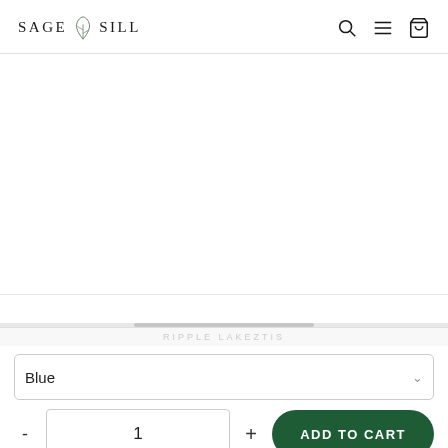SAGE SILL — navigation header with search, menu, and cart icons
[Figure (other): Product image area (blank/white, product not loaded)]
Blue
- 1 + ADD TO CART